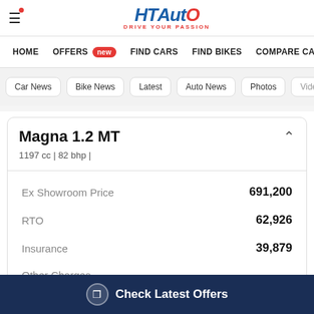HT Auto - Drive Your Passion
HOME
OFFERS new
FIND CARS
FIND BIKES
COMPARE CA
Car News
Bike News
Latest
Auto News
Photos
Videos
Magna 1.2 MT
1197 cc | 82 bhp |
|  |  |
| --- | --- |
| Ex Showroom Price | 691,200 |
| RTO | 62,926 |
| Insurance | 39,879 |
| Other Charges |  |
Check Latest Offers